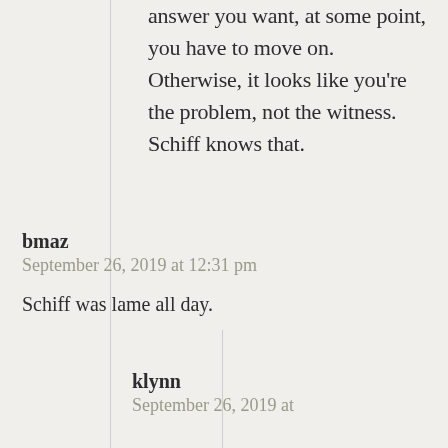answer you want, at some point, you have to move on. Otherwise, it looks like you're the problem, not the witness. Schiff knows that.
bmaz
September 26, 2019 at 12:31 pm

Schiff was lame all day.
klynn
September 26, 2019 at